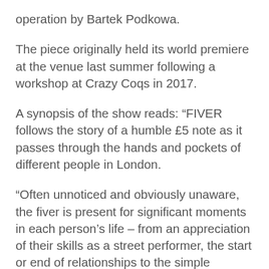operation by Bartek Podkowa.
The piece originally held its world premiere at the venue last summer following a workshop at Crazy Coqs in 2017.
A synopsis of the show reads: “FIVER follows the story of a humble £5 note as it passes through the hands and pockets of different people in London.
“Often unnoticed and obviously unaware, the fiver is present for significant moments in each person’s life – from an appreciation of their skills as a street performer, the start or end of relationships to the simple realisation that they can afford a bed for the